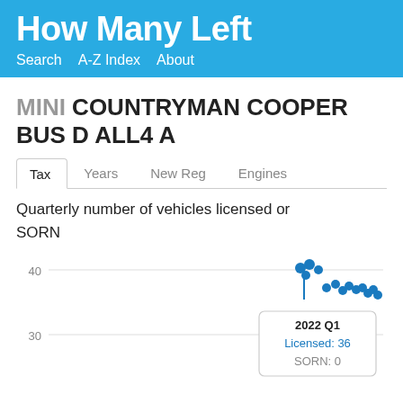How Many Left
Search   A-Z Index   About
MINI COUNTRYMAN COOPER BUS D ALL4 A
Tax   Years   New Reg   Engines
Quarterly number of vehicles licensed or SORN
[Figure (line-chart): Line/dot chart showing quarterly licensed and SORN vehicles. A tooltip shows 2022 Q1: Licensed: 36, SORN: 0. Y-axis shows values 30 and 40 visible. Data points cluster near values 35-42 in recent quarters.]